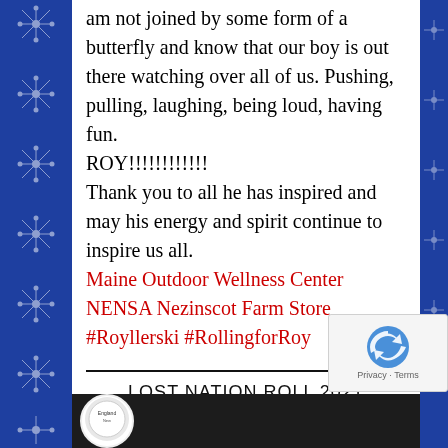am not joined by some form of a butterfly and know that our boy is out there watching over all of us. Pushing, pulling, laughing, being loud, having fun.
ROY!!!!!!!!!!!!!!
Thank you to all he has inspired and may his energy and spirit continue to inspire us all.
Maine Outdoor Wellness Center NENSA Nezinscot Farm Store #Royllerski #RollingforRoy
LOST NATION ROLL 2021
[Figure (photo): Dark background with partial white circular logo at bottom]